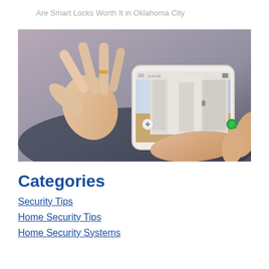Are Smart Locks Worth It in Oklahoma City
[Figure (photo): Person holding a smartphone displaying a live camera feed of a doorway/entryway, with hands visible holding the phone, woman in background.]
Categories
Security Tips
Home Security Tips
Home Security Systems